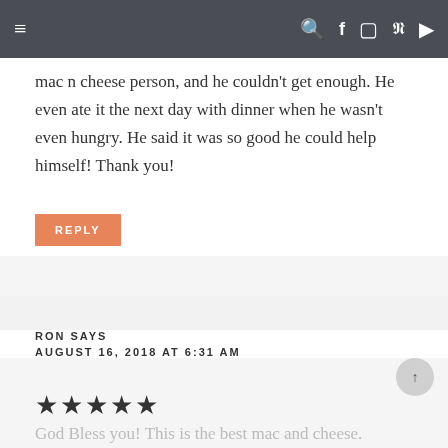≡   🔍 f 📷 𝗽 ▶
mac n cheese person, and he couldn't get enough. He even ate it the next day with dinner when he wasn't even hungry. He said it was so good he could help himself! Thank you!
REPLY
RON SAYS
AUGUST 16, 2018 AT  6:31 AM
★★★★★
God Bless you! This is the best mac and cheese. Thanks for sharing,